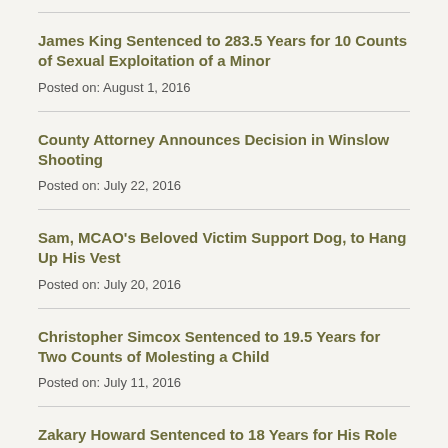James King Sentenced to 283.5 Years for 10 Counts of Sexual Exploitation of a Minor
Posted on: August 1, 2016
County Attorney Announces Decision in Winslow Shooting
Posted on: July 22, 2016
Sam, MCAO's Beloved Victim Support Dog, to Hang Up His Vest
Posted on: July 20, 2016
Christopher Simcox Sentenced to 19.5 Years for Two Counts of Molesting a Child
Posted on: July 11, 2016
Zakary Howard Sentenced to 18 Years for His Role in the Murder of a Friend
Posted on: July 1, 2016